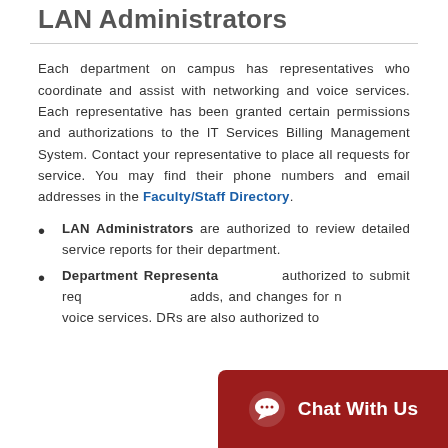LAN Administrators
Each department on campus has representatives who coordinate and assist with networking and voice services. Each representative has been granted certain permissions and authorizations to the IT Services Billing Management System. Contact your representative to place all requests for service. You may find their phone numbers and email addresses in the Faculty/Staff Directory.
LAN Administrators are authorized to review detailed service reports for their department.
Department Representatives are authorized to submit requests for moves, adds, and changes for network and voice services. DRs are also authorized to